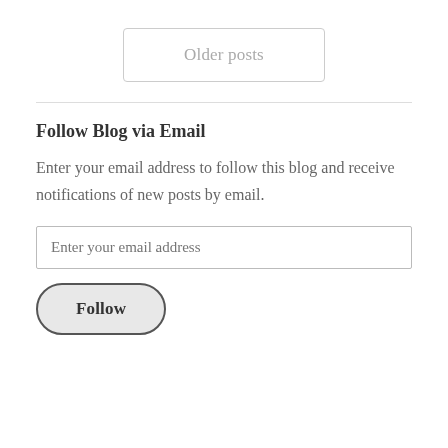Older posts
Follow Blog via Email
Enter your email address to follow this blog and receive notifications of new posts by email.
Enter your email address
Follow